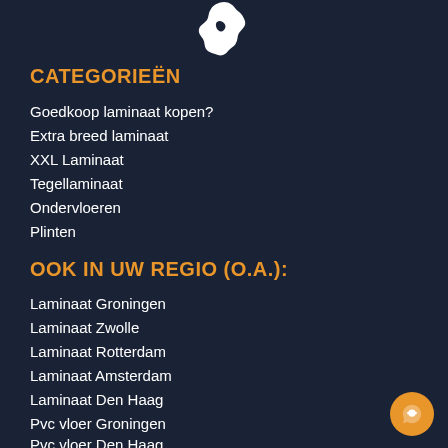[Figure (illustration): White silhouette map icon of the Netherlands on dark navy background]
CATEGORIEËN
Goedkoop laminaat kopen?
Extra breed laminaat
XXL Laminaat
Tegellaminaat
Ondervloeren
Plinten
OOK IN UW REGIO (O.A.):
Laminaat Groningen
Laminaat Zwolle
Laminaat Rotterdam
Laminaat Amsterdam
Laminaat Den Haag
Pvc vloer Groningen
Pvc vloer Den Haag